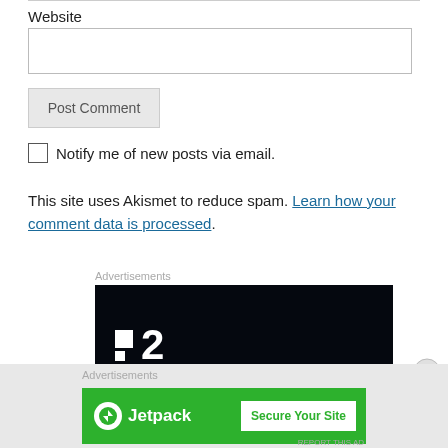Website
Post Comment
Notify me of new posts via email.
This site uses Akismet to reduce spam. Learn how your comment data is processed.
Advertisements
[Figure (screenshot): Dark advertisement banner with a logo showing a small white square followed by the number 2]
Advertisements
[Figure (screenshot): Green Jetpack advertisement banner with Jetpack logo on the left and a 'Secure Your Site' button on the right]